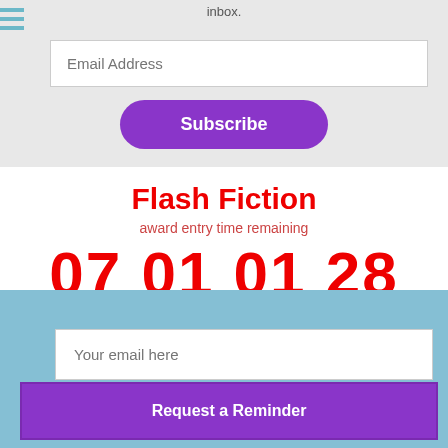inbox.
[Figure (infographic): Email subscription form with an email address input field and a purple Subscribe button on a light gray background]
Flash Fiction
award entry time remaining
07 01 01 28
weeks   days   hours   mins
[Figure (infographic): Email reminder signup form with a 'Your email here' input field and a purple 'Request a Reminder' button on a light blue background]